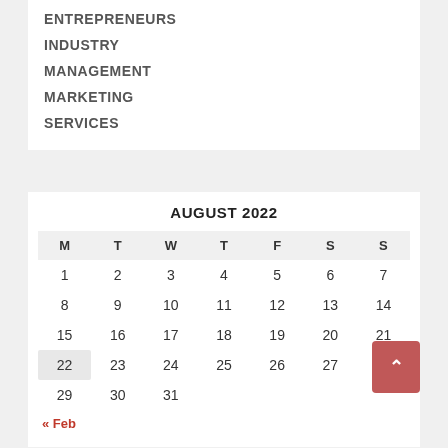ENTREPRENEURS
INDUSTRY
MANAGEMENT
MARKETING
SERVICES
| M | T | W | T | F | S | S |
| --- | --- | --- | --- | --- | --- | --- |
| 1 | 2 | 3 | 4 | 5 | 6 | 7 |
| 8 | 9 | 10 | 11 | 12 | 13 | 14 |
| 15 | 16 | 17 | 18 | 19 | 20 | 21 |
| 22 | 23 | 24 | 25 | 26 | 27 | 28 |
| 29 | 30 | 31 |  |  |  |  |
« Feb